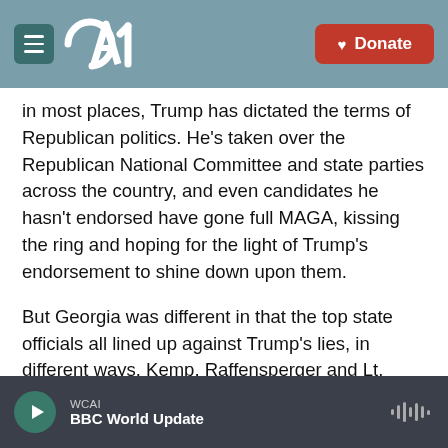CAI — Donate
in most places, Trump has dictated the terms of Republican politics. He's taken over the Republican National Committee and state parties across the country, and even candidates he hasn't endorsed have gone full MAGA, kissing the ring and hoping for the light of Trump's endorsement to shine down upon them.
But Georgia was different in that the top state officials all lined up against Trump's lies, in different ways. Kemp, Raffensperger and Lt. Gov. Geoff Duncan all put a degree of distance between themselves and Trump.
WCAI — BBC World Update